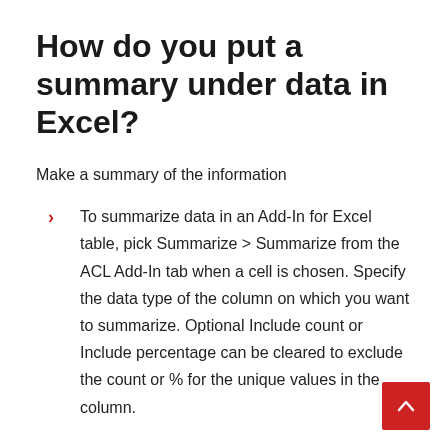How do you put a summary under data in Excel?
Make a summary of the information
To summarize data in an Add-In for Excel table, pick Summarize > Summarize from the ACL Add-In tab when a cell is chosen. Specify the data type of the column on which you want to summarize. Optional Include count or Include percentage can be cleared to exclude the count or % for the unique values in the column.